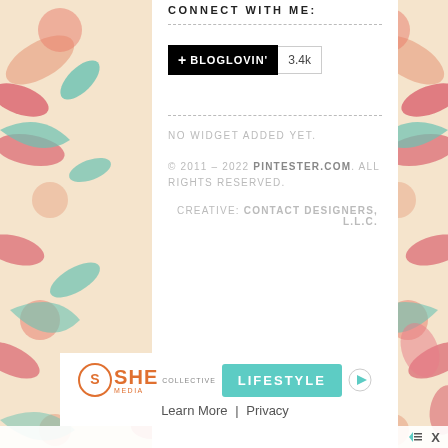CONNECT WITH ME:
[Figure (logo): Bloglovin button with black background and '+BLOGLOVIN' text, followed by count badge showing 3.4k]
NO WIDGET ADDED YET.
© 2011 - 2022 PINTESTER.COM. ALL RIGHTS RESERVED.
CREATIVE: CONTACT DESIGNERS, L.L.C.
[Figure (infographic): SHE Media Collective Lifestyle advertisement banner with Learn More and Privacy links, plus a Play button and close X button]